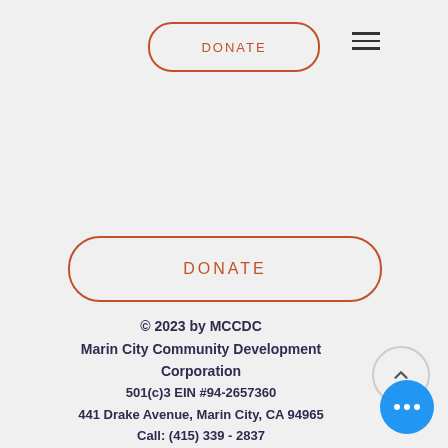[Figure (other): DONATE button with orange rounded border at top left of page]
[Figure (other): Hamburger menu icon (three horizontal lines) at top right]
[Figure (other): Large DONATE button with orange rounded border in center of page]
© 2023 by MCCDC
Marin City Community Development Corporation
501(c)3 EIN #94-2657360
441 Drake Avenue, Marin City, CA 94965
Call: (415) 339 - 2837
Fax: (415) 332 - 0337
info@marincitycdc.org
[Figure (other): Back to top circular button with upward chevron arrow]
[Figure (other): Blue circular chat/more options button with three white dots]